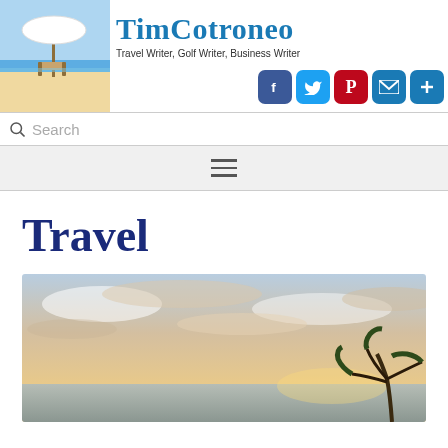[Figure (logo): TimCotroneo website header with beach/umbrella photo on left, site name 'TimCotroneo' in blue serif font, tagline 'Travel Writer, Golf Writer, Business Writer', and social media icon buttons (Facebook, Twitter, Pinterest, Email, Plus)]
Search
[Figure (screenshot): Navigation hamburger menu (three horizontal lines) on a light grey background]
Travel
[Figure (photo): Tropical sunset or sunrise photo with cloudy sky, golden light, and palm trees visible at bottom right]